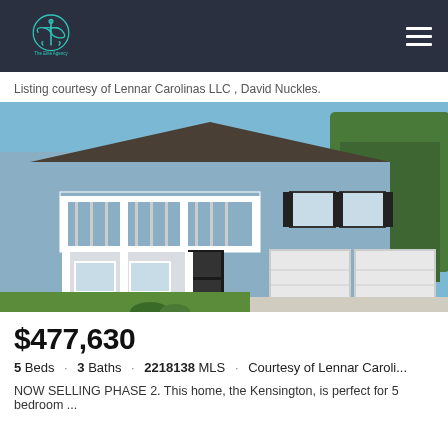The Elite Agency
Listing courtesy of Lennar Carolinas LLC , David Nuckles.
[Figure (photo): Two-story blue and white colonial-style house with front porch, balcony, black shutters, and two-car garage on a sunny day.]
$477,630
5 Beds · 3 Baths · 2218138 MLS · Courtesy of Lennar Caroli...
NOW SELLING PHASE 2. This home, the Kensington, is perfect for 5 bedroom ...